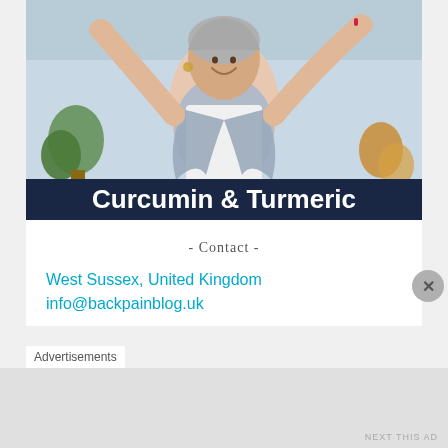[Figure (photo): A happy woman with grey hair wearing a white top and grey scarf, arms raised joyfully, with plants in the background. A dark navy banner at the bottom reads 'Curcumin & Turmeric' in bold white text.]
- Contact -
West Sussex, United Kingdom
info@backpainblog.uk
Advertisements